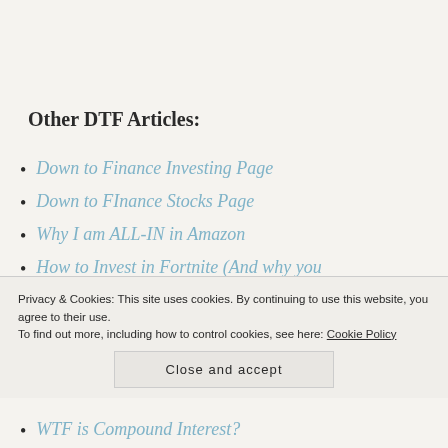Other DTF Articles:
Down to Finance Investing Page
Down to FInance Stocks Page
Why I am ALL-IN in Amazon
How to Invest in Fortnite (And why you
Privacy & Cookies: This site uses cookies. By continuing to use this website, you agree to their use.
To find out more, including how to control cookies, see here: Cookie Policy
Close and accept
WTF is Compound Interest?